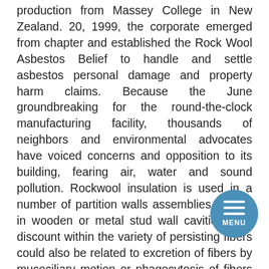production from Massey College in New Zealand. 20, 1999, the corporate emerged from chapter and established the Rock Wool Asbestos Belief to handle and settle asbestos personal damage and property harm claims. Because the June groundbreaking for the round-the-clock manufacturing facility, thousands of neighbors and environmental advocates have voiced concerns and opposition to its building, fearing air, water and sound pollution. Rockwool insulation is used in a number of partition walls assemblies – each in wooden or metal stud wall cavities. The discount within the variety of persisting fibers could also be related to excretion of fibers by mucociliary motion or phagocytosis of fibers by alveolar macrophages, and the diminished sizes (size and width) of fibers retained within the lungs may be resulting from dissolution in body fluid or mechanical destruction of fibers there. The explanation why longer fibers clear quicker compared to shorter fibers is taken into account to be